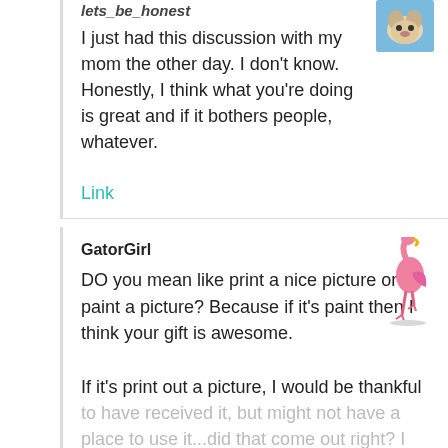lets_be_honest
I just had this discussion with my mom the other day. I don't know. Honestly, I think what you're doing is great and if it bothers people, whatever.
Link
GatorGirl
DO you mean like print a nice picture or paint a picture? Because if it's paint then I think your gift is awesome.
If it's print out a picture, I would be thankful to have received it, but might not have a place to use it...did that come out right? I